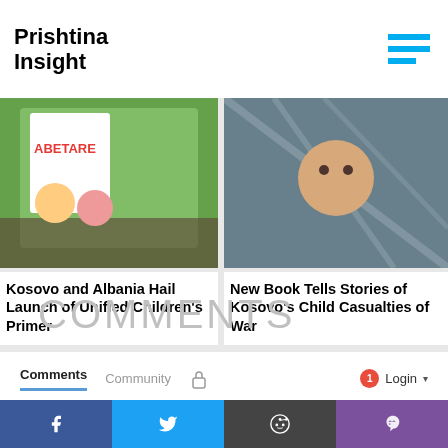Prishtina Insight
[Figure (photo): Book cover showing 'Abetare' children's primer with illustrated characters]
Kosovo and Albania Hail Launch of Unified Children's Primer
[Figure (photo): Child looking through plastic sheeting, war-related book cover]
New Book Tells Stories of Kosovo's Child Casualties of War
COMMENTS
Comments   Community   🔒   1   Login ▾
♡ Favorite   Sort by Best ▾